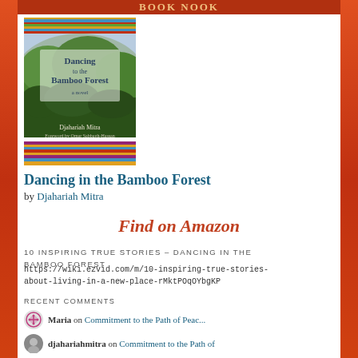BOOK NOOK
[Figure (illustration): Book cover of 'Dancing to the Bamboo Forest' by Djahariah Mitra, showing green forested hills with colorful textile/weaving bands at top and bottom.]
Dancing in the Bamboo Forest
by Djahariah Mitra
Find on Amazon
10 INSPIRING TRUE STORIES – DANCING IN THE BAMBOO FOREST
https://wiki.ezvid.com/m/10-inspiring-true-stories-about-living-in-a-new-place-rMktPOqOYbgKP
RECENT COMMENTS
Maria on Commitment to the Path of Peac...
djahariahmitra on Commitment to the Path of